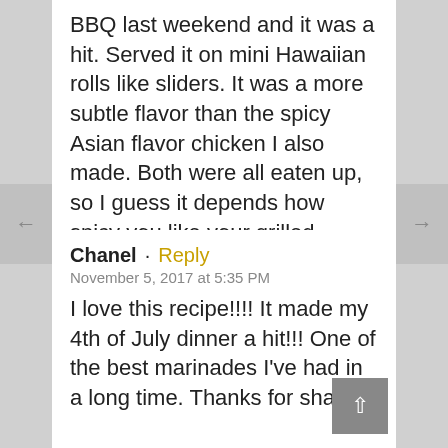BBQ last weekend and it was a hit. Served it on mini Hawaiian rolls like sliders. It was a more subtle flavor than the spicy Asian flavor chicken I also made. Both were all eaten up, so I guess it depends how spicy you like your grilled chicken. Delicious.
Chanel · Reply
November 5, 2017 at 5:35 PM
I love this recipe!!!! It made my 4th of July dinner a hit!!! One of the best marinades I've had in a long time. Thanks for sharing.